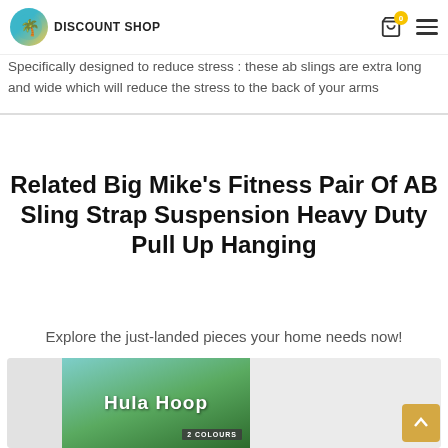DISCOUNT SHOP
Made from heavy duty material : strong material to hold on any pull up bar
Specifically designed to reduce stress : these ab slings are extra long and wide which will reduce the stress to the back of your arms
Related Big Mike's Fitness Pair Of AB Sling Strap Suspension Heavy Duty Pull Up Hanging
Explore the just-landed pieces your home needs now!
[Figure (photo): Hula Hoop product card showing a woman exercising, with text 'Hula Hoop' and '2 COLOURS']